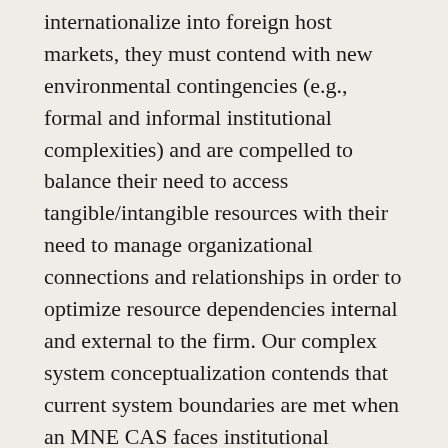internationalize into foreign host markets, they must contend with new environmental contingencies (e.g., formal and informal institutional complexities) and are compelled to balance their need to access tangible/intangible resources with their need to manage organizational connections and relationships in order to optimize resource dependencies internal and external to the firm. Our complex system conceptualization contends that current system boundaries are met when an MNE CAS faces institutional complexities in the host market and when current resource dependency relationships internal and external to the MNE are not fully optimized. Capitalizing on knowledge flows fuel system continuous learning and adaptive processes, which reciprocally facilitate an MNE's capacity to face and overcome (i.e., absorb, reduce and accept) host market environmental barriers to legitimacy and competition—namely in the form of constraining institutional